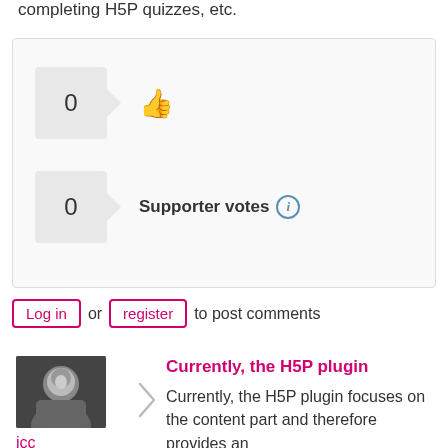completing H5P quizzes, etc.
[Figure (other): Vote widget with two rows: first row shows count '0' with thumbs up icon; second row shows count '0' with label 'Supporter votes' and info icon]
Log in or register to post comments
icc
Tue, 02/14/2017 - 15:38
permalink
Currently, the H5P plugin
Currently, the H5P plugin focuses on the content part and therefore provides an